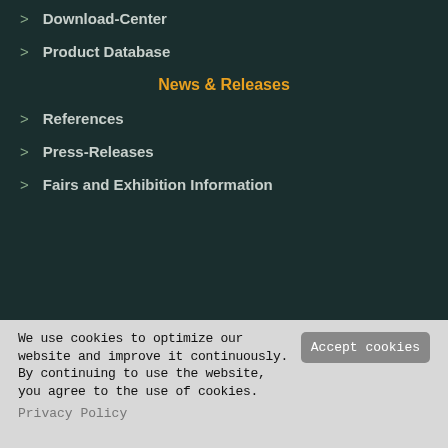> Download-Center
> Product Database
News & Releases
> References
> Press-Releases
> Fairs and Exhibition Information
[Figure (other): Social media icons row: Facebook (blue), YouTube (red), Twitter (light blue), LinkedIn (dark blue)]
> Disclaimer
We use cookies to optimize our website and improve it continuously. By continuing to use the website, you agree to the use of cookies.  Privacy Policy
Accept cookies